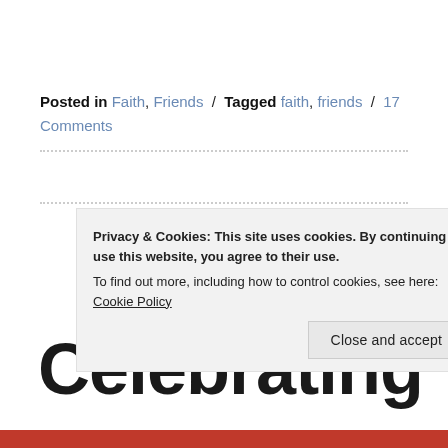Posted in Faith, Friends / Tagged faith, friends / 17 Comments
Celebrating
Privacy & Cookies: This site uses cookies. By continuing to use this website, you agree to their use.
To find out more, including how to control cookies, see here: Cookie Policy
Close and accept